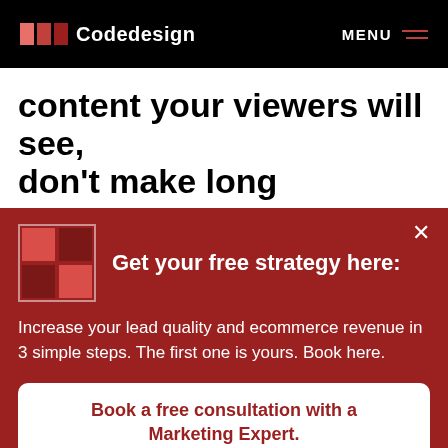Codedesign   MENU
content your viewers will see, don't make long
[Figure (screenshot): Red promotional popup card with Codedesign logo grid, headline 'Get your free strategy here:', body text 'Increase your lead quality and ecommerce revenue in 3 simple steps. The first one is yours. Book here.', and a white CTA button 'Book a free consultation with a Marketing Expert.']